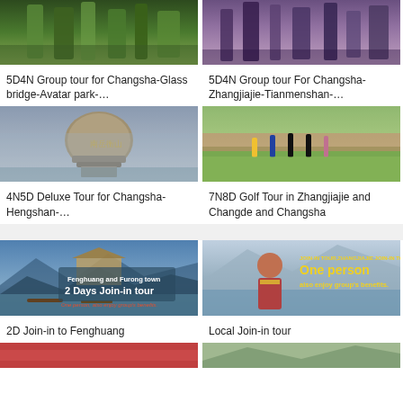[Figure (photo): Mountain scenery with tall rocky pillars and green vegetation - Zhangjiajie]
5D4N Group tour for Changsha-Glass bridge-Avatar park-…
[Figure (photo): Dramatic stone pillars rising into misty purple sky - Zhangjiajie]
5D4N Group tour For Changsha-Zhangjiajie-Tianmenshan-…
[Figure (photo): Large stone monument/sculpture with Chinese characters at a mountain park]
4N5D Deluxe Tour for Changsha-Hengshan-…
[Figure (photo): Golf players on green course in Zhangjiajie]
7N8D Golf Tour in Zhangjiajie and Changde and Changsha
[Figure (photo): Scenic river town Fenghuang with promotional text: Fenghuang and Furong town 2 Days Join-in tour]
2D Join-in to Fenghuang
[Figure (photo): Person in traditional costume with Zhangjiajie scenery and text: JOIN-IN TOUR, ZHANGJIAJIE JOIN-IN TOUR, One person also enjoy group's benefits.]
Local Join-in tour
[Figure (photo): Partial bottom row - left image, scenic landscape]
[Figure (photo): Partial bottom row - right image, scenic landscape]